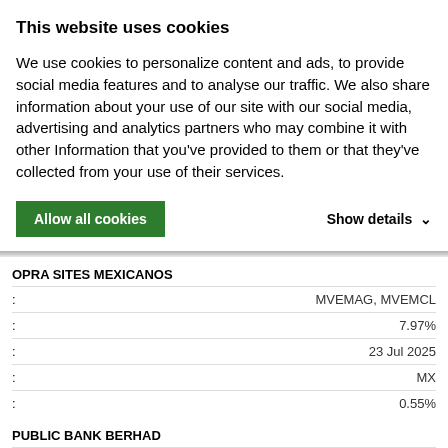This website uses cookies
We use cookies to personalize content and ads, to provide social media features and to analyse our traffic. We also share information about your use of our site with our social media, advertising and analytics partners who may combine it with other Information that you've provided to them or that they've collected from your use of their services.
Allow all cookies | Show details
OPRA SITES MEXICANOS
| : | Value |
| --- | --- |
| : | MVEMAG, MVEMCL |
| : | 7.97% |
| : | 23 Jul 2025 |
| : | MX |
| : | 0.55% |
PUBLIC BANK BERHAD
| : | Value |
| --- | --- |
| : | MVEMCL, MVEMAG |
| : | 4.85% |
| : | 23 Apr 2025 |